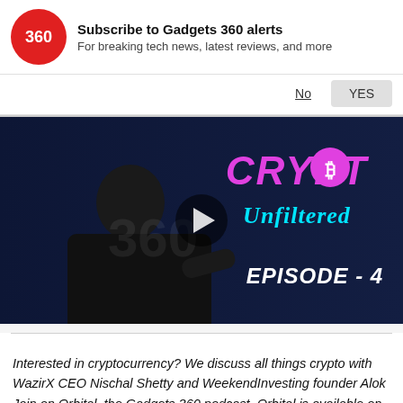[Figure (logo): Gadgets 360 red circle logo with '360' text]
Subscribe to Gadgets 360 alerts
For breaking tech news, latest reviews, and more
No    YES
[Figure (screenshot): Crypto Unfiltered Episode 4 video thumbnail showing a man in black polo shirt pointing, with pink 'CRYPTO' text and cyan 'Unfiltered' text on dark navy background]
Interested in cryptocurrency? We discuss all things crypto with WazirX CEO Nischal Shetty and WeekendInvesting founder Alok Jain on Orbital, the Gadgets 360 podcast. Orbital is available on Apple Podcasts, Google Podcasts, Spotify, Amazon Music and wherever you got your